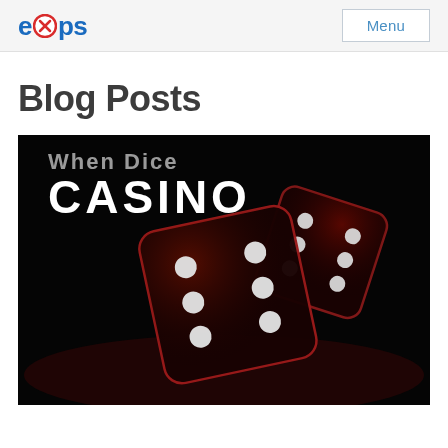eXps  Menu
Blog Posts
[Figure (photo): Black background with two dark red translucent dice showing white dots. Text overlaid reads 'When Dice' and 'CASINO' in bold white letters.]